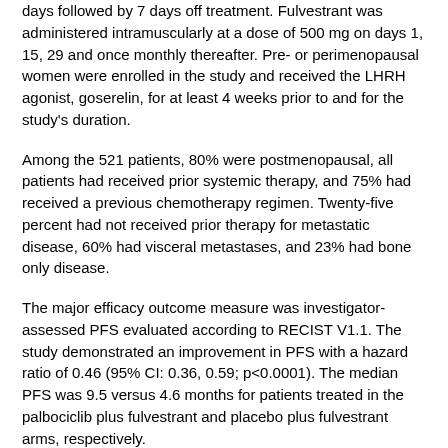days followed by 7 days off treatment. Fulvestrant was administered intramuscularly at a dose of 500 mg on days 1, 15, 29 and once monthly thereafter. Pre- or perimenopausal women were enrolled in the study and received the LHRH agonist, goserelin, for at least 4 weeks prior to and for the study's duration.
Among the 521 patients, 80% were postmenopausal, all patients had received prior systemic therapy, and 75% had received a previous chemotherapy regimen. Twenty-five percent had not received prior therapy for metastatic disease, 60% had visceral metastases, and 23% had bone only disease.
The major efficacy outcome measure was investigator-assessed PFS evaluated according to RECIST V1.1. The study demonstrated an improvement in PFS with a hazard ratio of 0.46 (95% CI: 0.36, 0.59; p<0.0001). The median PFS was 9.5 versus 4.6 months for patients treated in the palbociclib plus fulvestrant and placebo plus fulvestrant arms, respectively.
Safety data was evaluated in 345 patients who received palbociclib plus fulvestrant. The most common (greater than or equal to 10%) of grade 1-4 adverse reactions were neutropenia, leukopenia, infections, fatigue, nausea, anemia, stomatitis, headache, diarrhea, thrombocytopenia, constipation, vomiting, alopecia, rash, decreased appetite, and pyrexia. The most common (greater than or equal to